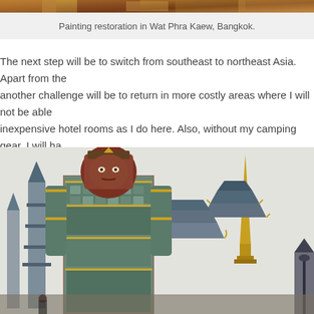[Figure (photo): Top strip of painting restoration scene at Wat Phra Kaew, Bangkok — colorful artwork visible at top edge]
Painting restoration in Wat Phra Kaew, Bangkok.
The next step will be to switch from southeast to northeast Asia. Apart from the another challenge will be to return in more costly areas where I will not be able inexpensive hotel rooms as I do here. Also, without my camping gear, I will ha constantly. Regardless, it's exciting to be on the move again, soon to discover
[Figure (photo): Guardian statue (Yaksha) at Wat Phra Kaew temple complex, Bangkok, with golden chedi/spire visible in background]